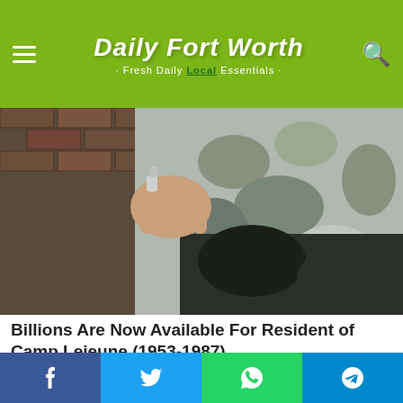Daily Fort Worth · Fresh Daily Local Essentials
[Figure (photo): A hand in military camouflage uniform touching or holding something near a brick wall — water faucet scene]
Billions Are Now Available For Resident of Camp Lejeune (1953-1987)
Consumer Coalition
[Figure (photo): Close-up of an elderly person's head with white/grey hair, blue background — health or news segment thumbnail]
Facebook · Twitter · WhatsApp · Telegram